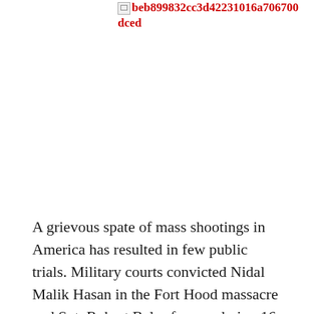beb899832cc3d42231016a706700dced
A grievous spate of mass shootings in America has resulted in few public trials. Military courts convicted Nidal Malik Hasan in the Fort Hood massacre and Sgt. Robert Bales for murdering 16 Afghan civilians. Hasan's sentence is death; Bales', life in prison.